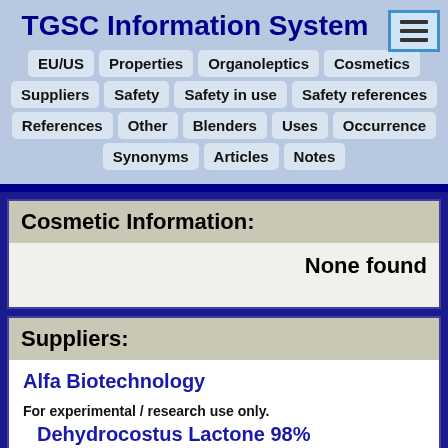TGSC Information System
EU/US  Properties  Organoleptics  Cosmetics  Suppliers  Safety  Safety in use  Safety references  References  Other  Blenders  Uses  Occurrence  Synonyms  Articles  Notes
Cosmetic Information:
None found
Suppliers:
Alfa Biotechnology
For experimental / research use only.
Dehydrocostus Lactone 98%